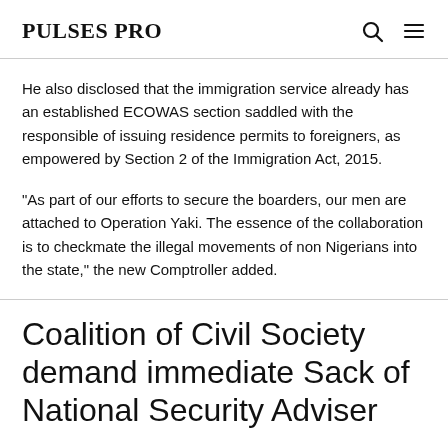PULSES PRO
He also disclosed that the immigration service already has an established ECOWAS section saddled with the responsible of issuing residence permits to foreigners, as empowered by Section 2 of the Immigration Act, 2015.
"As part of our efforts to secure the boarders, our men are attached to Operation Yaki. The essence of the collaboration is to checkmate the illegal movements of non Nigerians into the state," the new Comptroller added.
Coalition of Civil Society demand immediate Sack of National Security Adviser